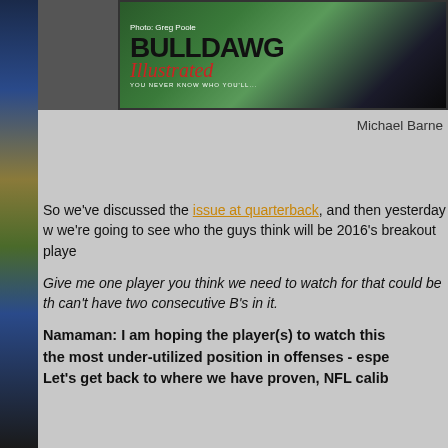[Figure (photo): Bulldawg Illustrated magazine banner/logo with photo credit to Greg Poole. Shows the Bulldawg Illustrated logo with red script 'Illustrated' text on a green and dark background.]
Michael Barne
So we've discussed the issue at quarterback, and then yesterday w we're going to see who the guys think will be 2016's breakout playe
Give me one player you think we need to watch for that could be th can't have two consecutive B's in it.
Namaman: I am hoping the player(s) to watch this the most under-utilized position in offenses - espe Let's get back to where we have proven, NFL calib